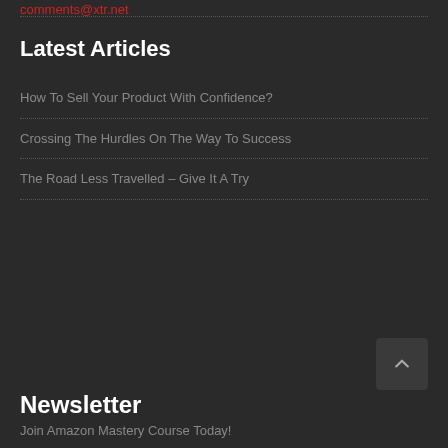comments@xtr.net
Latest Articles
How To Sell Your Product With Confidence?
Crossing The Hurdles On The Way To Success
The Road Less Travelled – Give It A Try
Newsletter
Join Amazon Mastery Course Today!